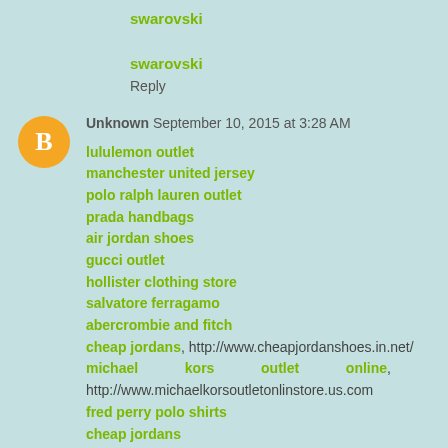swarovski
swarovski
Reply
[Figure (illustration): Orange circle avatar with white Blogger 'B' icon]
Unknown September 10, 2015 at 3:28 AM
lululemon outlet
manchester united jersey
polo ralph lauren outlet
prada handbags
air jordan shoes
gucci outlet
hollister clothing store
salvatore ferragamo
abercrombie and fitch
cheap jordans, http://www.cheapjordanshoes.in.net/
michael kors outlet online, http://www.michaelkorsoutletonlinstore.us.com
fred perry polo shirts
cheap jordans